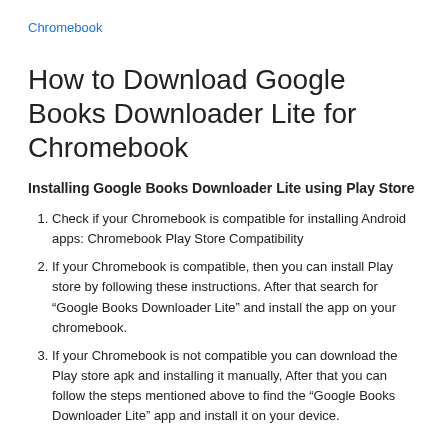Chromebook
How to Download Google Books Downloader Lite for Chromebook
Installing Google Books Downloader Lite using Play Store
Check if your Chromebook is compatible for installing Android apps: Chromebook Play Store Compatibility
If your Chromebook is compatible, then you can install Play store by following these instructions. After that search for “Google Books Downloader Lite” and install the app on your chromebook.
If your Chromebook is not compatible you can download the Play store apk and installing it manually, After that you can follow the steps mentioned above to find the “Google Books Downloader Lite” app and install it on your device.